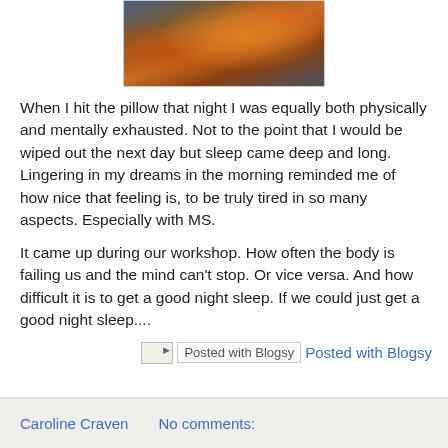[Figure (photo): Sunset or dramatic sky photo with orange, gold, and blue-grey clouds]
When I hit the pillow that night I was equally both physically and mentally exhausted. Not to the point that I would be wiped out the next day but sleep came deep and long. Lingering in my dreams in the morning reminded me of how nice that feeling is, to be truly tired in so many aspects. Especially with MS.
It came up during our workshop. How often the body is failing us and the mind can't stop. Or vice versa. And how difficult it is to get a good night sleep. If we could just get a good night sleep....
[Figure (screenshot): Posted with Blogsy button/badge with icon and text link]
Caroline Craven    No comments: